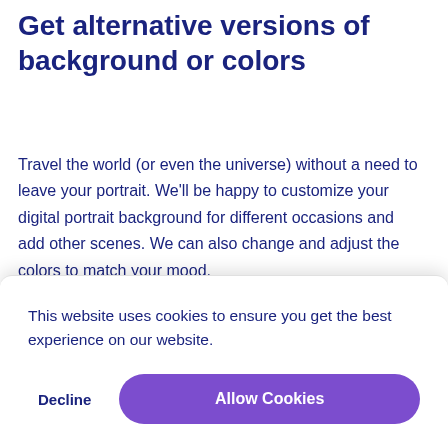Get alternative versions of background or colors
Travel the world (or even the universe) without a need to leave your portrait. We'll be happy to customize your digital portrait background for different occasions and add other scenes. We can also change and adjust the colors to match your mood.
This website uses cookies to ensure you get the best experience on our website.
Decline
Allow Cookies